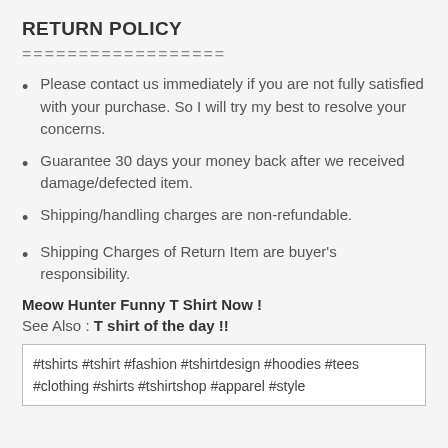RETURN POLICY
==================
Please contact us immediately if you are not fully satisfied with your purchase. So I will try my best to resolve your concerns.
Guarantee 30 days your money back after we received damage/defected item.
Shipping/handling charges are non-refundable.
Shipping Charges of Return Item are buyer's responsibility.
Meow Hunter Funny T Shirt Now !
See Also : T shirt of the day !!
#tshirts #tshirt #fashion #tshirtdesign #hoodies #tees #clothing #shirts #tshirtshop #apparel #style